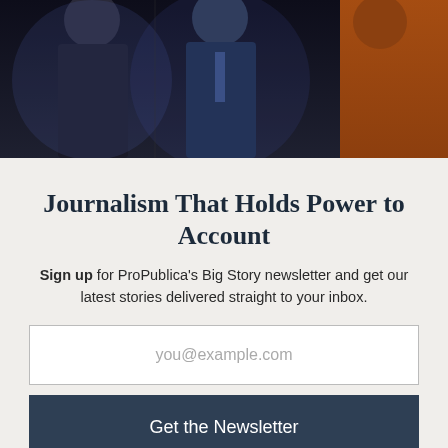[Figure (photo): Dark-toned photo of people in suits, partially visible, upper portion of modal overlay]
Journalism That Holds Power to Account
Sign up for ProPublica's Big Story newsletter and get our latest stories delivered straight to your inbox.
you@example.com
Get the Newsletter
No thanks, I'm all set
This site is protected by reCAPTCHA and the Google Privacy Policy and Terms of Service apply.